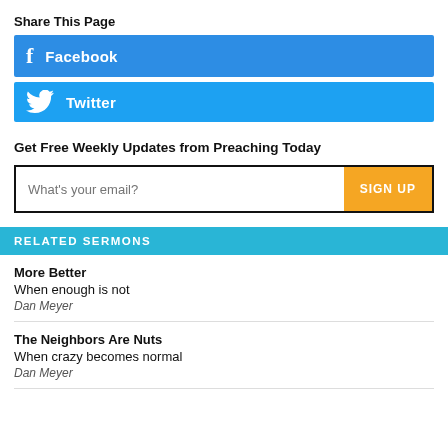Share This Page
[Figure (infographic): Facebook share button (blue background with f icon and 'Facebook' text)]
[Figure (infographic): Twitter share button (light blue background with bird icon and 'Twitter' text)]
Get Free Weekly Updates from Preaching Today
What's your email? SIGN UP
RELATED SERMONS
More Better
When enough is not
Dan Meyer
The Neighbors Are Nuts
When crazy becomes normal
Dan Meyer